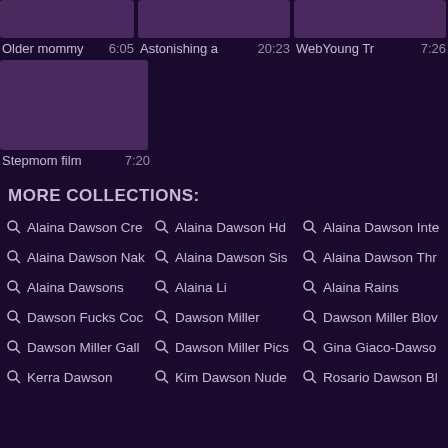[Figure (screenshot): Three video thumbnails in a row with purple background, showing titles and durations: 'Older mommy' 6:05, 'Astonishing a' 20:23, 'WebYoung Tr' 7:26]
[Figure (screenshot): Single video thumbnail with purple background, title 'Stepmom film' and duration 7:20]
MORE COLLECTIONS:
Alaina Dawson Cre
Alaina Dawson Hd
Alaina Dawson Inte
Alaina Dawson Nak
Alaina Dawson Sis
Alaina Dawson Thr
Alaina Dawsons
Alaina Li
Alaina Rains
Dawson Fucks Coc
Dawson Miller
Dawson Miller Blov
Dawson Miller Gall
Dawson Miller Pics
Gina Giaco-Dawso
Kerra Dawson
Kim Dawson Nude
Rosario Dawson Bl